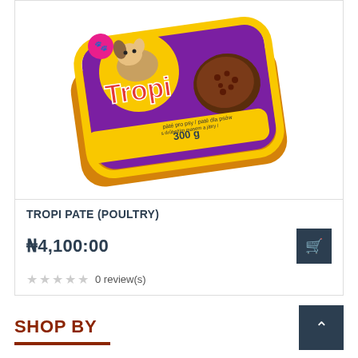[Figure (photo): Tropi Pate (Poultry) dog food product in a yellow and purple tray container labeled 300g, with an image of a dog and meat on the packaging.]
TROPI PATE (POULTRY)
₦4,100:00
0 review(s)
SHOP BY